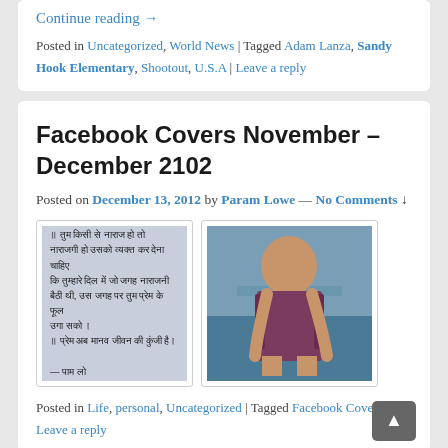Continue reading →
Posted in Uncategorized, World News | Tagged Adam Lanza, Sandy Hook Elementary, Shootout, U.S.A | Leave a reply
Facebook Covers November – December 2102
Posted on December 13, 2012 by Param Lowe — No Comments ↓
[Figure (photo): Two Facebook cover images: one with Hindi text on a light blue background, another showing a person standing outdoors near water]
Posted in Life, personal, Uncategorized | Tagged Facebook Covers | Leave a reply